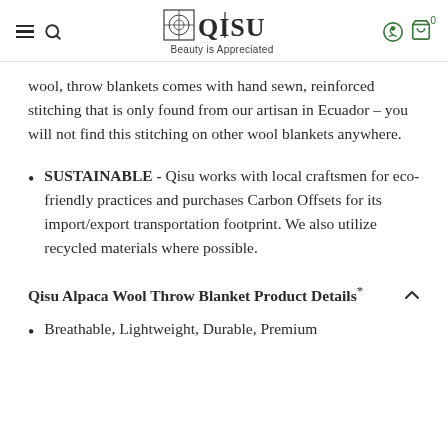YAQISU — Beauty is Appreciated
wool, throw blankets comes with hand sewn, reinforced stitching that is only found from our artisan in Ecuador – you will not find this stitching on other wool blankets anywhere.
SUSTAINABLE - Qisu works with local craftsmen for eco-friendly practices and purchases Carbon Offsets for its import/export transportation footprint. We also utilize recycled materials where possible.
Qisu Alpaca Wool Throw Blanket Product Details*
Breathable, Lightweight, Durable, Premium